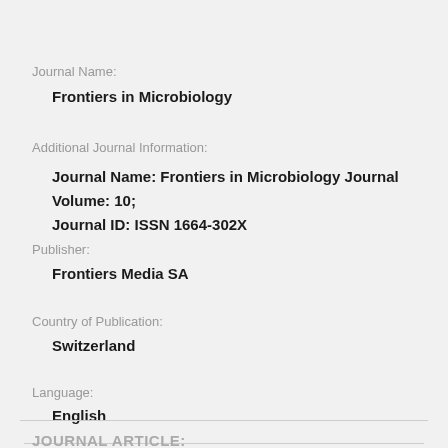Journal Name:
Frontiers in Microbiology
Additional Journal Information:
Journal Name: Frontiers in Microbiology Journal Volume: 10; Journal ID: ISSN 1664-302X
Publisher:
Frontiers Media SA
Country of Publication:
Switzerland
Language:
English
JOURNAL ARTICLE: